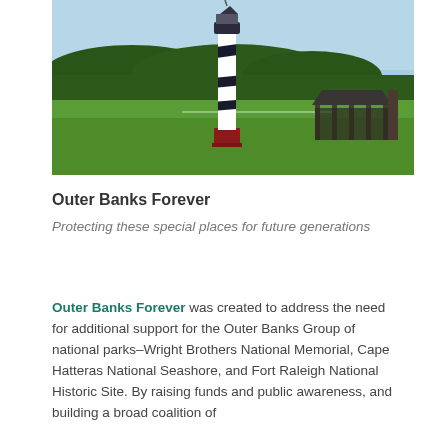[Figure (photo): Cape Hatteras lighthouse with black and white spiral stripes, green lawn, trees in background, and a wooden pavilion/shed structure to the right]
Outer Banks Forever
Protecting these special places for future generations
Outer Banks Forever was created to address the need for additional support for the Outer Banks Group of national parks–Wright Brothers National Memorial, Cape Hatteras National Seashore, and Fort Raleigh National Historic Site. By raising funds and public awareness, and building a broad coalition of